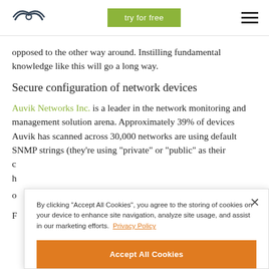try for free
opposed to the other way around. Instilling fundamental knowledge like this will go a long way.
Secure configuration of network devices
Auvik Networks Inc. is a leader in the network monitoring and management solution arena. Approximately 39% of devices Auvik has scanned across 30,000 networks are using default SNMP strings (they’re using “private” or “public” as their
By clicking “Accept All Cookies”, you agree to the storing of cookies on your device to enhance site navigation, analyze site usage, and assist in our marketing efforts. Privacy Policy
Accept All Cookies